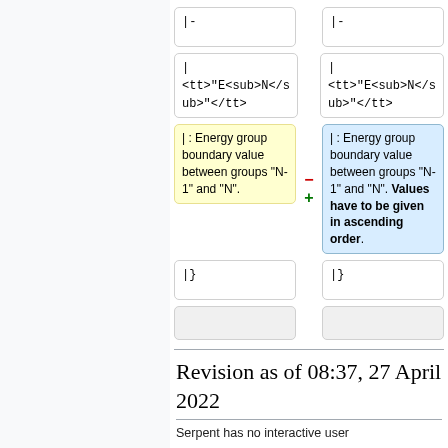| Old | New |
| --- | --- |
| |- | |- |
| |
<tt>"E<sub>N</sub>"</tt> | |
<tt>"E<sub>N</sub>"</tt> |
| | : Energy group boundary value between groups "N-1" and "N". | | : Energy group boundary value between groups "N-1" and "N". Values have to be given in ascending order. |
| |} | |} |
|  |  |
Revision as of 08:37, 27 April 2022
Serpent has no interactive user